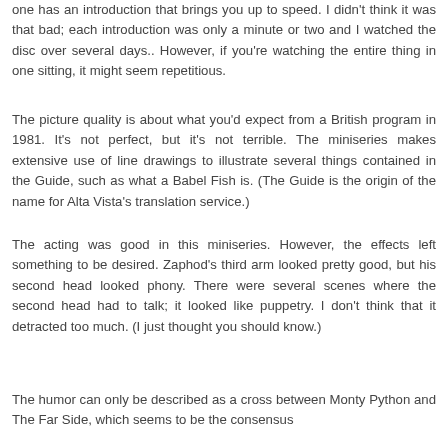one has an introduction that brings you up to speed. I didn't think it was that bad; each introduction was only a minute or two and I watched the disc over several days.. However, if you're watching the entire thing in one sitting, it might seem repetitious.
The picture quality is about what you'd expect from a British program in 1981. It's not perfect, but it's not terrible. The miniseries makes extensive use of line drawings to illustrate several things contained in the Guide, such as what a Babel Fish is. (The Guide is the origin of the name for Alta Vista's translation service.)
The acting was good in this miniseries. However, the effects left something to be desired. Zaphod's third arm looked pretty good, but his second head looked phony. There were several scenes where the second head had to talk; it looked like puppetry. I don't think that it detracted too much. (I just thought you should know.)
The humor can only be described as a cross between Monty Python and The Far Side, which seems to be the consensus